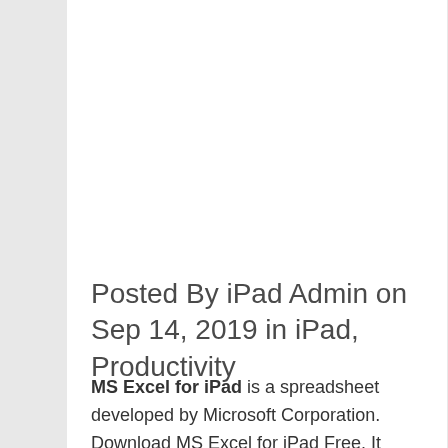Posted By iPad Admin on Sep 14, 2019 in iPad, Productivity
MS Excel for iPad is a spreadsheet developed by Microsoft Corporation. Download MS Excel for iPad Free. It features...